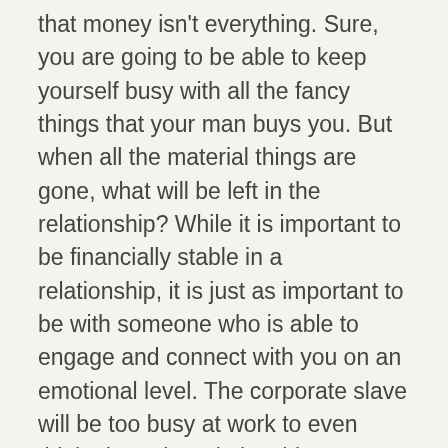that money isn't everything. Sure, you are going to be able to keep yourself busy with all the fancy things that your man buys you. But when all the material things are gone, what will be left in the relationship? While it is important to be financially stable in a relationship, it is just as important to be with someone who is able to engage and connect with you on an emotional level. The corporate slave will be too busy at work to even think about the relationship.
If you're single and tired of dating the wrong guys, contact our New Jersey